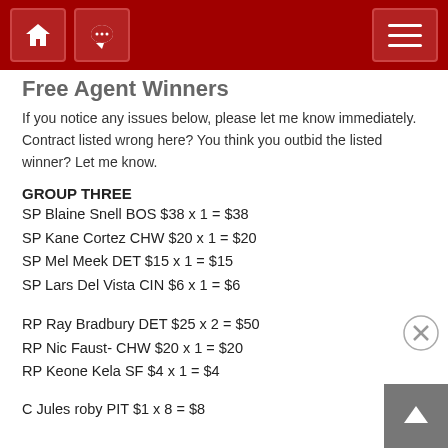Free Agent Winners
If you notice any issues below, please let me know immediately. Contract listed wrong here? You think you outbid the listed winner? Let me know.
GROUP THREE
SP Blaine Snell BOS $38 x 1 = $38
SP Kane Cortez CHW $20 x 1 = $20
SP Mel Meek DET $15 x 1 = $15
SP Lars Del Vista CIN $6 x 1 = $6
RP Ray Bradbury DET $25 x 2 = $50
RP Nic Faust- CHW $20 x 1 = $20
RP Keone Kela SF $4 x 1 = $4
C Jules roby PIT $1 x 8 = $8